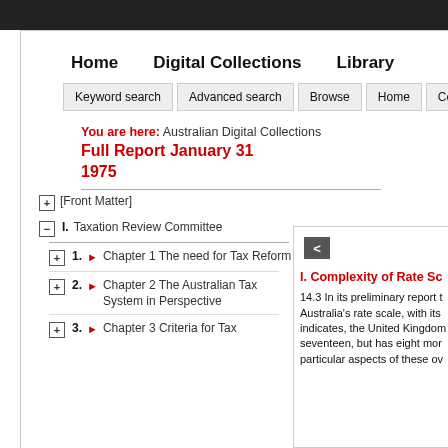Home   Digital Collections   Library
Keyword search   Advanced search   Browse   Home   Contact
You are here: Australian Digital Collections
Full Report January 31 1975
[Front Matter]
I.  Taxation Review Committee
1.  Chapter 1 The need for Tax Reform
2.  Chapter 2 The Australian Tax System in Perspective
3.  Chapter 3 Criteria for Tax
I. Complexity of Rate Sc
14.3 In its preliminary report t Australia's rate scale, with its indicates, the United Kingdom seventeen, but has eight mor particular aspects of these ov